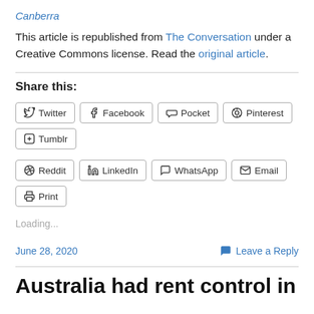Canberra
This article is republished from The Conversation under a Creative Commons license. Read the original article.
Share this:
Twitter
Facebook
Pocket
Pinterest
Tumblr
Reddit
LinkedIn
WhatsApp
Email
Print
Loading...
June 28, 2020    Leave a Reply
Australia had rent control in